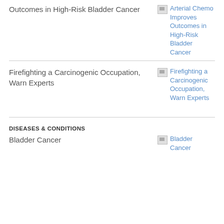Outcomes in High-Risk Bladder Cancer
Arterial Chemo Improves Outcomes in High-Risk Bladder Cancer
Firefighting a Carcinogenic Occupation, Warn Experts
Firefighting a Carcinogenic Occupation, Warn Experts
DISEASES & CONDITIONS
Bladder Cancer
Bladder Cancer